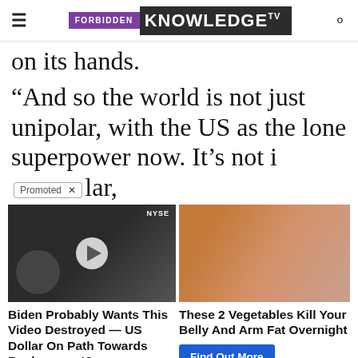FORBIDDEN KNOWLEDGE TV
on its hands.
“And so the world is not just unipolar, with the US as the lone superpower now. It’s not i[Promoted ×]lar,
[Figure (screenshot): Advertisement: Left side shows a video thumbnail with a man in a suit at NYSE, with a play button overlay. Right side shows a close-up of a spoon with spice and a midriff.]
Biden Probably Wants This Video Destroyed — US Dollar On Path Towards Replacement? Watch The Video
These 2 Vegetables Kill Your Belly And Arm Fat Overnight Find Out More